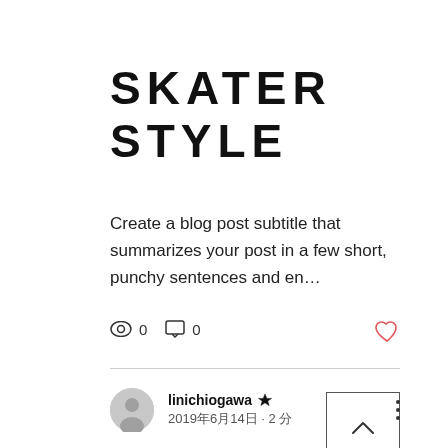SKATER STYLE
Create a blog post subtitle that summarizes your post in a few short, punchy sentences and en…
0  0
[Figure (other): Back to top arrow button — a square outline with an upward chevron inside]
linichiogawa 👑
2019年6月14日 · 2 分